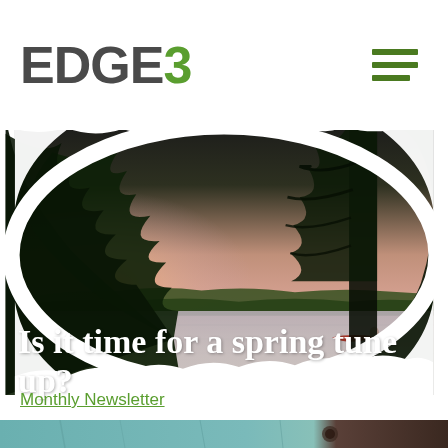[Figure (logo): EDGE3 company logo with green 3 and green square accent]
[Figure (illustration): Hamburger/menu icon with three dark green horizontal bars]
[Figure (photo): Nature scene with pine tree branches, lake at dusk with pink/orange sky, canoe and person in water in background]
Is it time for a spring tune up?
Monthly Newsletter
[Figure (photo): Close-up photo strip showing teal/blue painted wood surface and blurred brown background on right side]